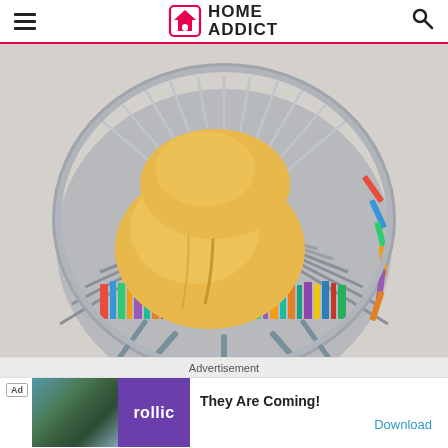HOME ADDICT
[Figure (photo): A circular bookshelf chair with a yellow cushioned seat. The round frame is filled with radiating shelf sections holding colorful books. The chair sits on thin metal legs against a light gray background.]
Advertisement
[Figure (other): Advertisement banner for 'They Are Coming!' game by Rollic. Shows a purple logo with 'rollic' text and a game thumbnail. Text reads 'They Are Coming!' with a 'Download' link.]